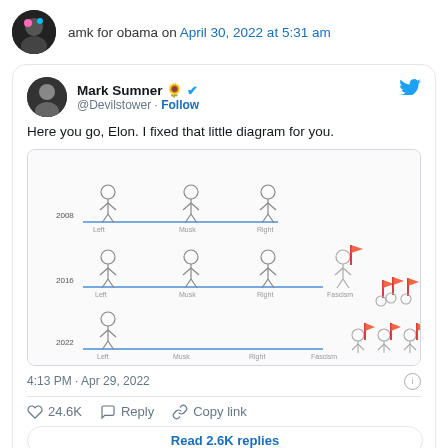amk for obama on April 30, 2022 at 5:31 am
Mark Sumner 🌻 ✔ @Devilstower · Follow
Here you go, Elon. I fixed that little diagram for you.
[Figure (infographic): A stick figure political spectrum diagram showing three rows labeled 2008, 2016, and 2022. Each row has a horizontal blue line with stick figures positioned at Left, Musk, Right, and Fascism positions. In 2008, three figures stand at Left/Musk/Right. In 2016, four figures with the rightmost (Fascism) has a red flag. In 2022, only the leftmost figure stands at Left while others moved far right near Fascism with red flags.]
4:13 PM · Apr 29, 2022
24.6K   Reply   Copy link
Read 2.6K replies